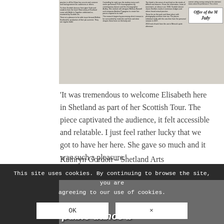[Figure (photo): Scanned newspaper clipping showing multiple columns of text and an 'Offer of the Month - July' box in the top right]
‘It was tremendous to welcome Elisabeth here in Shetland as part of her Scottish Tour. The piece captivated the audience, it felt accessible and relatable. I just feel rather lucky that we got to have her here. She gave so much and it was such a pleasure.’
Kathryn Gordon – Shetland Arts
This site uses cookies. By continuing to browse the site, you are agreeing to our use of cookies.
[Figure (photo): Photograph showing a newspaper or printed page with text 'double dance b...' visible at the bottom]